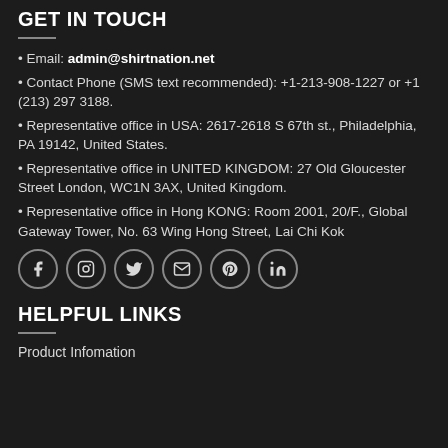GET IN TOUCH
Email: admin@shirtnation.net
Contact Phone (SMS text recommended): +1-213-908-1227 or +1 (213) 297 3188.
Representative office in USA: 2617-2618 S 67th st., Philadelphia, PA 19142, United States.
Representative office in UNITED KINGDOM: 27 Old Gloucester Street London, WC1N 3AX, United Kingdom.
Representative office in Hong KONG: Room 2001, 20/F., Global Gateway Tower, No. 63 Wing Hong Street, Lai Chi Kok
[Figure (infographic): Six social media icon circles: Facebook, Instagram, Twitter, Email, Pinterest, LinkedIn]
HELPFUL LINKS
Product Infomation